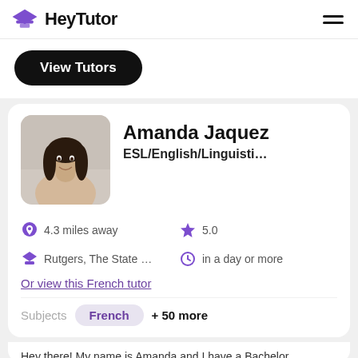HeyTutor
View Tutors
Amanda Jaquez
ESL/English/Linguisti…
4.3 miles away
5.0
Rutgers, The State …
in a day or more
Or view this French tutor
Subjects  French  + 50 more
Hey there! My name is Amanda and I have a Bachelor